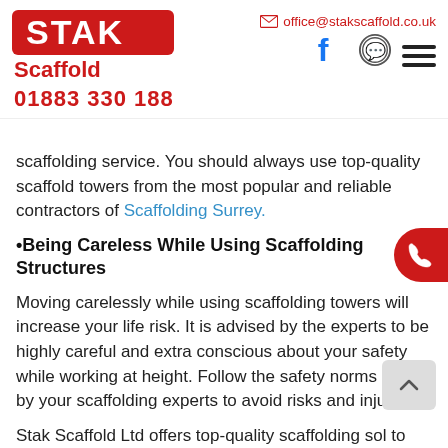[Figure (logo): STAK Scaffold company logo with red box containing STAK text, Scaffold text below, and phone number 01883 330 188]
office@stakscaffold.co.uk
scaffolding service. You should always use top-quality scaffold towers from the most popular and reliable contractors of Scaffolding Surrey.
•Being Careless While Using Scaffolding Structures
Moving carelessly while using scaffolding towers will increase your life risk. It is advised by the experts to be highly careful and extra conscious about your safety while working at height. Follow the safety norms given by your scaffolding experts to avoid risks and injuries.
Stak Scaffold Ltd offers top-quality scaffolding sol to businesses and individual clients located in London